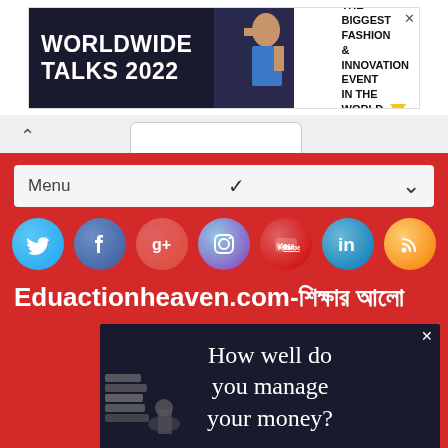[Figure (screenshot): Top advertisement banner: 'WORLDWIDE TALKS 2022 - THE BIGGEST FASHION & INNOVATION EVENT IN THE WORLD' with fashion model image on dark background]
[Figure (screenshot): Browser tab bar with caret/back arrow]
[Figure (screenshot): Navigation Menu bar with dropdown chevron on red background]
[Figure (screenshot): Social media icons row: Twitter, Facebook, Google+, Instagram, YouTube, LinkedIn, RSS]
Eduactionheaven.com-শিক্ষার আলো
[Figure (screenshot): Advertisement: 'How well do you manage your money?' on dark background with books and coins imagery]